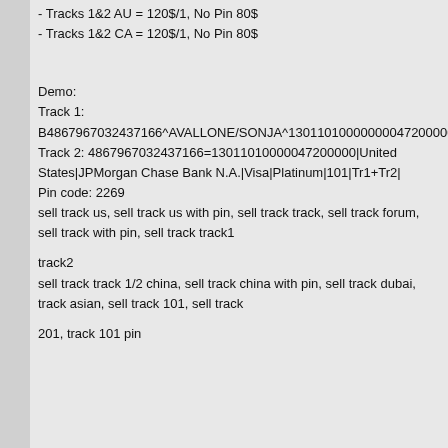- Tracks 1&2 AU = 120$/1, No Pin 80$
- Tracks 1&2 CA = 120$/1, No Pin 80$
Demo:
Track 1:
B4867967032437166^AVALLONE/SONJA^13011010000000047200000000
Track 2: 4867967032437166=13011010000047200000|United States|JPMorgan Chase Bank N.A.|Visa|Platinum|101|Tr1+Tr2|
Pin code: 2269
sell track us, sell track us with pin, sell track track, sell track forum, sell track with pin, sell track track1
track2
sell track track 1/2 china, sell track china with pin, sell track dubai, track asian, sell track 101, sell track
201, track 101 pin